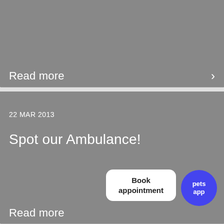Read more
22 MAR 2013
Spot our Ambulance!
Read more
[Figure (other): Book appointment button and pets app circular logo overlay]